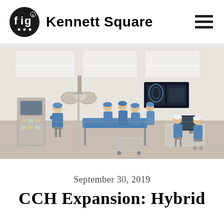fig Kennett Square
[Figure (illustration): Rendering of a hybrid surgical operating room with medical staff in blue scrubs performing a procedure. Multiple surgeons around an operating table with blue draping, anesthesia equipment on the left, two staff members seated at a workstation on the right, a medical imaging monitor on the wall, and surgical lighting equipment overhead.]
September 30, 2019
CCH Expansion: Hybrid